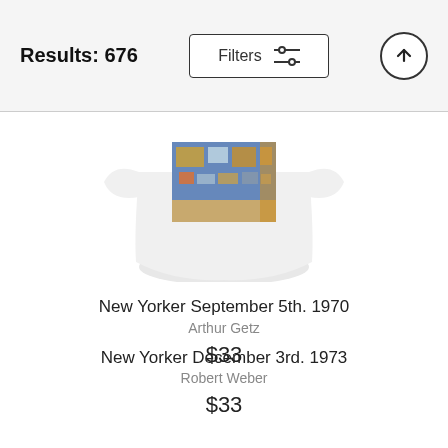Results: 676
[Figure (screenshot): A white t-shirt with a New Yorker magazine cover print showing an interior scene with blue walls and wooden elements]
New Yorker September 5th. 1970
Arthur Getz
$33
New Yorker December 3rd. 1973
Robert Weber
$33